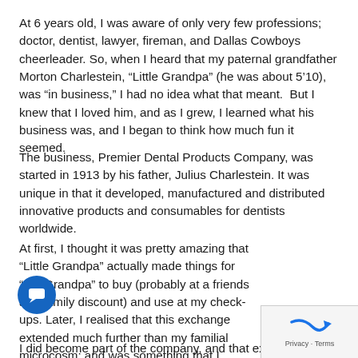At 6 years old, I was aware of only very few professions; doctor, dentist, lawyer, fireman, and Dallas Cowboys cheerleader. So, when I heard that my paternal grandfather Morton Charlestein, “Little Grandpa” (he was about 5’10), was “in business,” I had no idea what that meant.  But I knew that I loved him, and as I grew, I learned what his business was, and I began to think how much fun it seemed.
The business, Premier Dental Products Company, was started in 1913 by his father, Julius Charlestein. It was unique in that it developed, manufactured and distributed innovative products and consumables for dentists worldwide.
At first, I thought it was pretty amazing that “Little Grandpa” actually made things for “Big Grandpa” to buy (probably at a friends and family discount) and use at my check-ups. Later, I realised that this exchange extended much further than my familial microcosm; and was something that I wanted to be part of and to further expand.
I did become part of the company, and that expansion